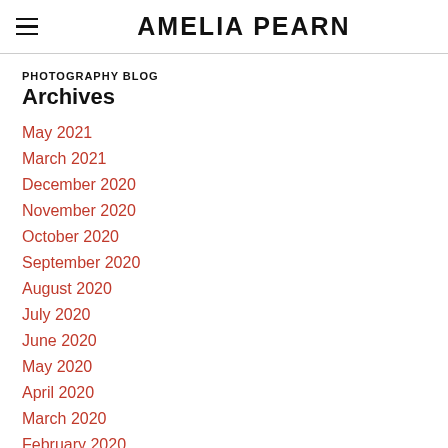AMELIA PEARN
PHOTOGRAPHY BLOG
Archives
May 2021
March 2021
December 2020
November 2020
October 2020
September 2020
August 2020
July 2020
June 2020
May 2020
April 2020
March 2020
February 2020
January 2020
December 2019